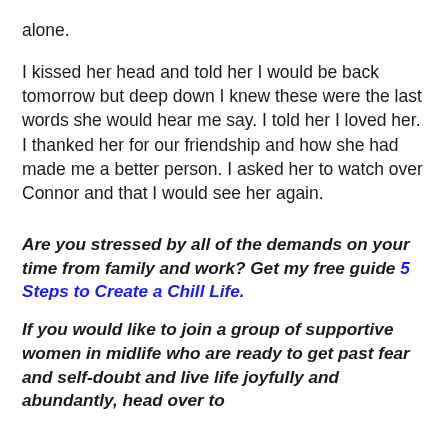alone.
I kissed her head and told her I would be back tomorrow but deep down I knew these were the last words she would hear me say. I told her I loved her. I thanked her for our friendship and how she had made me a better person. I asked her to watch over Connor and that I would see her again.
Are you stressed by all of the demands on your time from family and work? Get my free guide 5 Steps to Create a Chill Life.
If you would like to join a group of supportive women in midlife who are ready to get past fear and self-doubt and live life joyfully and abundantly, head over to